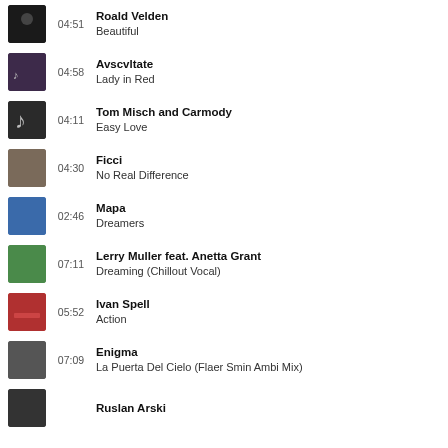04:51 Roald Velden - Beautiful
04:58 Avscvltate - Lady in Red
04:11 Tom Misch and Carmody - Easy Love
04:30 Ficci - No Real Difference
02:46 Mapa - Dreamers
07:11 Lerry Muller feat. Anetta Grant - Dreaming (Chillout Vocal)
05:52 Ivan Spell - Action
07:09 Enigma - La Puerta Del Cielo (Flaer Smin Ambi Mix)
Ruslan Arski